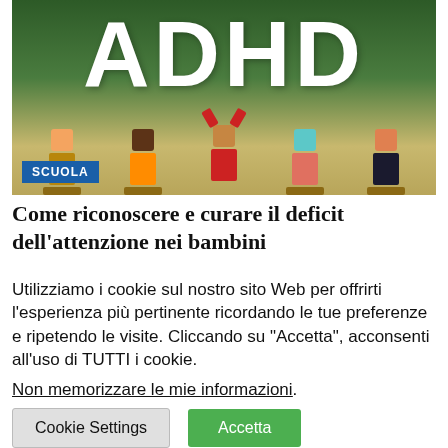[Figure (illustration): Illustration of children at school desks with a chalkboard showing the letters 'ADHD' in white on a dark green background. Cartoon-style pixelated children in various colors. A blue badge with 'SCUOLA' text in the lower left corner.]
Come riconoscere e curare il deficit dell'attenzione nei bambini
Utilizziamo i cookie sul nostro sito Web per offrirti l'esperienza più pertinente ricordando le tue preferenze e ripetendo le visite. Cliccando su "Accetta", acconsenti all'uso di TUTTI i cookie.
Non memorizzare le mie informazioni.